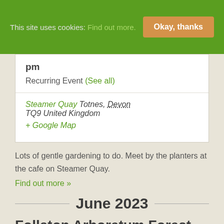This site uses cookies: Find out more. Okay, thanks
pm
Recurring Event (See all)
Steamer Quay Totnes, Devon TQ9 United Kingdom + Google Map
Lots of gentle gardening to do. Meet by the planters at the cafe on Steamer Quay.
Find out more »
June 2023
Follaton Arboretum Forest Gardening